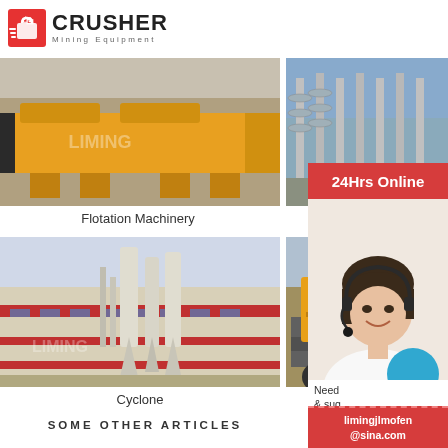[Figure (logo): Crusher Mining Equipment logo with red shopping bag icon and bold CRUSHER text]
[Figure (photo): Yellow flotation machinery equipment in industrial facility]
[Figure (photo): Spiral classifier equipment - tall spiral structures in outdoor industrial setting]
Flotation Machinery
Spiral
[Figure (photo): Cyclone dust collector equipment outside industrial building]
[Figure (photo): Ceramic filter or processing equipment on a truck]
Cyclone
Ceram
SOME OTHER ARTICLES
[Figure (infographic): 24Hrs Online red badge]
[Figure (photo): Customer service representative woman with headset smiling]
Need & suggestions
Chat Now
Enquiry
limingjlmofen@sina.com